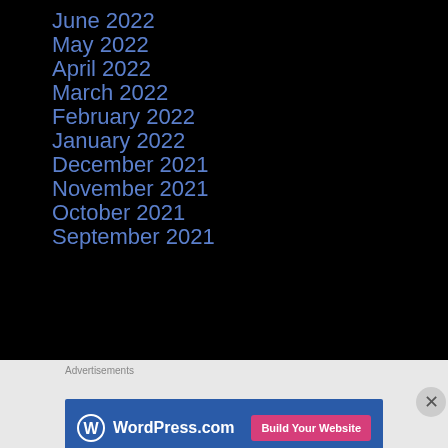June 2022
May 2022
April 2022
March 2022
February 2022
January 2022
December 2021
November 2021
October 2021
September 2021
Advertisements
[Figure (screenshot): WordPress.com advertisement banner with logo on blue background and pink 'Build Your Website' button]